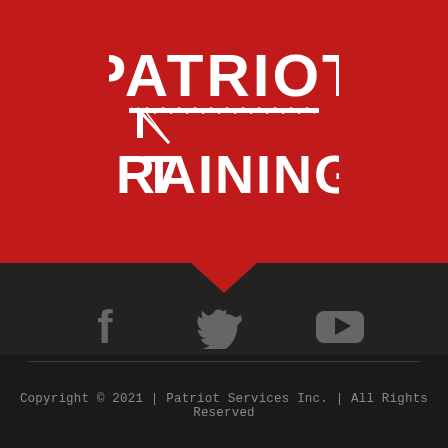[Figure (logo): Patriot Training logo in white text on red background, with crane imagery between PATRIOT and TRAINING text]
[Figure (infographic): Three social media icons (Facebook, Twitter, YouTube) in gray on dark background]
Copyright © 2021 | Patriot Services Inc. | All Rights Reserved